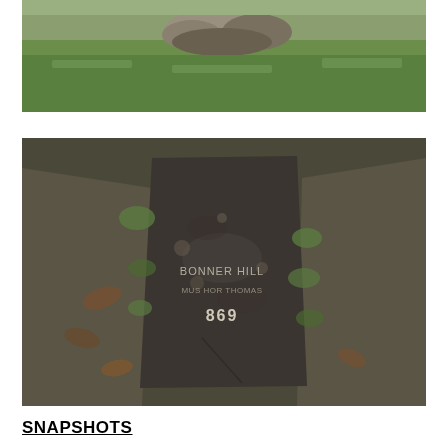[Figure (photo): Partial photo of a grassy area with stones/rocks visible at the top, green grass in the background.]
[Figure (photo): Photo of a flat gravestone or memorial slab lying on the ground surrounded by leaves, moss, and small green plants. The stone has the number '869' inscribed on it along with partially legible text above.]
SNAPSHOTS